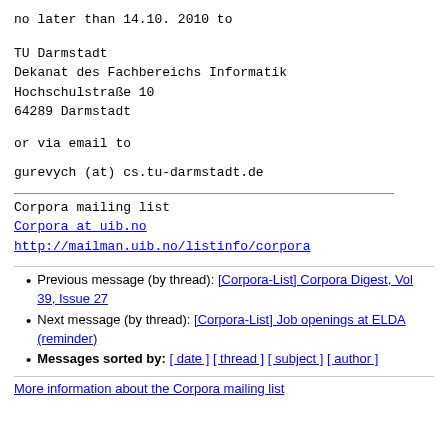no later than 14.10. 2010 to
TU Darmstadt
Dekanat des Fachbereichs Informatik
Hochschulstraße 10
64289 Darmstadt
or via email to
gurevych (at) cs.tu-darmstadt.de
Corpora mailing list
Corpora at uib.no
http://mailman.uib.no/listinfo/corpora
Previous message (by thread): [Corpora-List] Corpora Digest, Vol 39, Issue 27
Next message (by thread): [Corpora-List] Job openings at ELDA (reminder)
Messages sorted by: [ date ] [ thread ] [ subject ] [ author ]
More information about the Corpora mailing list